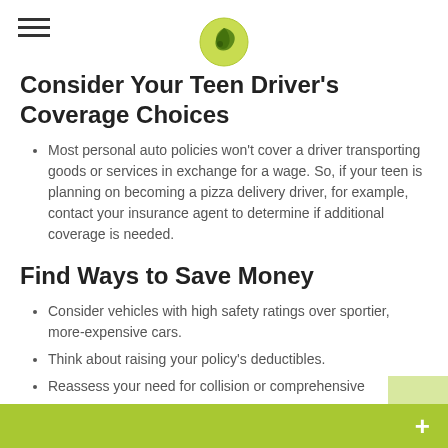[Figure (logo): Green circular logo with leaf/swirl design centered at top of page]
Consider Your Teen Driver's Coverage Choices
Most personal auto policies won't cover a driver transporting goods or services in exchange for a wage. So, if your teen is planning on becoming a pizza delivery driver, for example, contact your insurance agent to determine if additional coverage is needed.
Find Ways to Save Money
Consider vehicles with high safety ratings over sportier, more-expensive cars.
Think about raising your policy's deductibles.
Reassess your need for collision or comprehensive coverage.